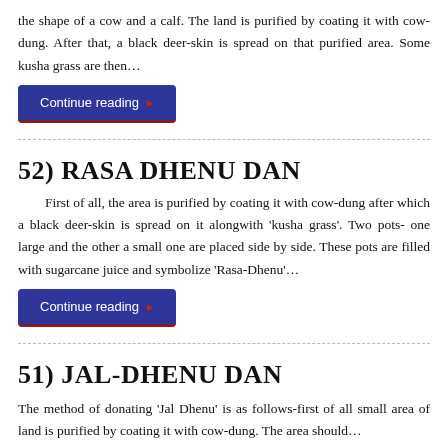the shape of a cow and a calf. The land is purified by coating it with cow-dung. After that, a black deer-skin is spread on that purified area. Some kusha grass are then…
Continue reading ▸
52)  RASA DHENU DAN
First of all, the area is purified by coating it with cow-dung after which a black deer-skin is spread on it alongwith 'kusha grass'. Two pots- one large and the other a small one are placed side by side. These pots are filled with sugarcane juice and symbolize 'Rasa-Dhenu'…
Continue reading ▸
51)  JAL-DHENU DAN
The method of donating 'Jal Dhenu' is as follows-first of all small area of land is purified by coating it with cow-dung. The area should…